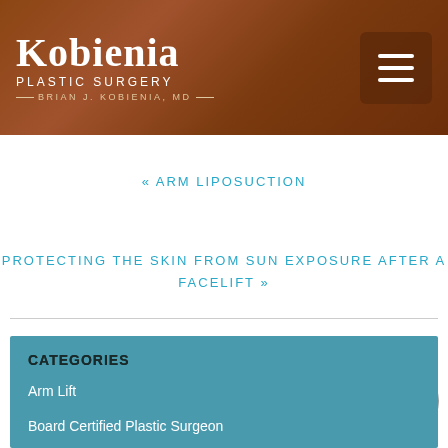[Figure (logo): Kobienia Plastic Surgery logo — Brian J. Kobienia, MD — white text on brown gradient header background]
« ARM LIPOSUCTION
PROTECTING THE SKIN FROM SUN EXPOSURE AFTER A FACELIFT »
CATEGORIES
Arm Lift
Board Certified Plastic Surgeon